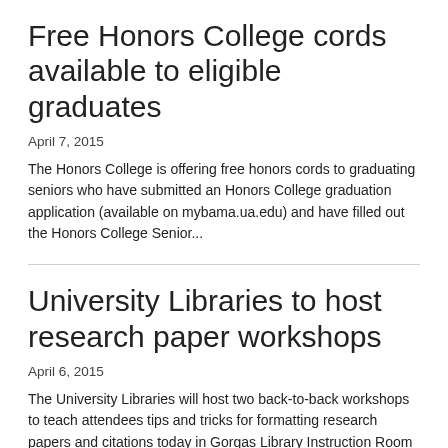Free Honors College cords available to eligible graduates
April 7, 2015
The Honors College is offering free honors cords to graduating seniors who have submitted an Honors College graduation application (available on mybama.ua.edu) and have filled out the Honors College Senior...
University Libraries to host research paper workshops
April 6, 2015
The University Libraries will host two back-to-back workshops to teach attendees tips and tricks for formatting research papers and citations today in Gorgas Library Instruction Room 104. The first hour-long...